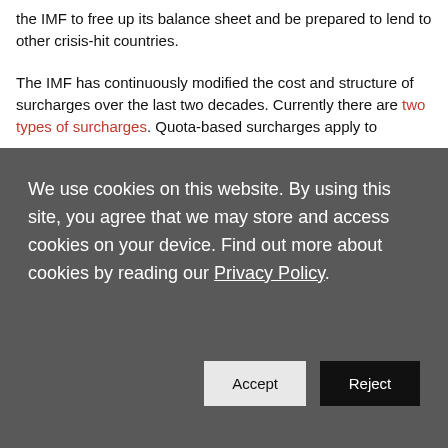the IMF to free up its balance sheet and be prepared to lend to other crisis-hit countries.
The IMF has continuously modified the cost and structure of surcharges over the last two decades. Currently there are two types of surcharges. Quota-based surcharges apply to
We use cookies on this website. By using this site, you agree that we may store and access cookies on your device. Find out more about cookies by reading our Privacy Policy.